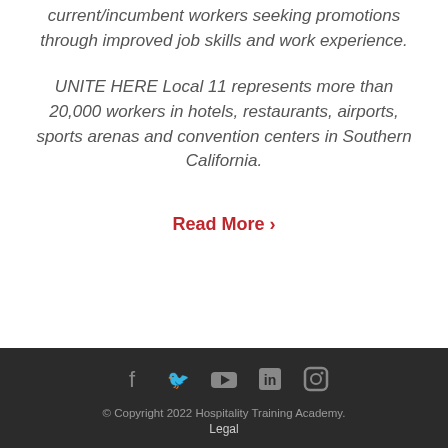current/incumbent workers seeking promotions through improved job skills and work experience.
UNITE HERE Local 11 represents more than 20,000 workers in hotels, restaurants, airports, sports arenas and convention centers in Southern California.
Read More ›
© Copyright 2022 Hospitality Training Academy. Legal